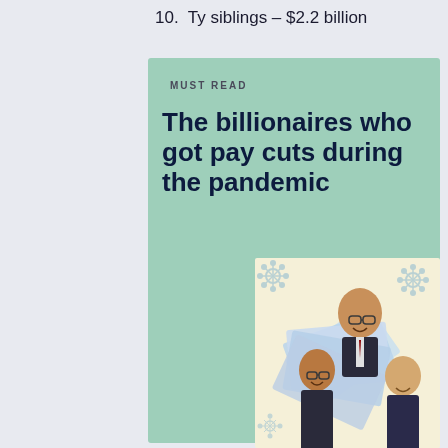10.  Ty siblings – $2.2 billion
MUST READ
The billionaires who got pay cuts during the pandemic
[Figure (photo): Illustration of three businessmen smiling, with Philippine peso banknotes fanned out behind them and coronavirus particles in the background, on a cream/yellow background.]